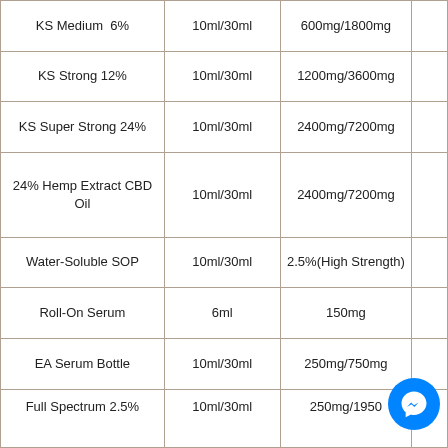| Product | Volume | Strength |  |
| --- | --- | --- | --- |
| KS Medium  6% | 10ml/30ml | 600mg/1800mg |  |
| KS Strong 12% | 10ml/30ml | 1200mg/3600mg |  |
| KS Super Strong 24% | 10ml/30ml | 2400mg/7200mg |  |
| 24% Hemp Extract CBD Oil | 10ml/30ml | 2400mg/7200mg |  |
| Water-Soluble SOP | 10ml/30ml | 2.5%(High Strength) |  |
| Roll-On Serum | 6ml | 150mg |  |
| EA Serum Bottle | 10ml/30ml | 250mg/750mg |  |
| Full Spectrum 2.5% | 10ml/30ml | 250mg/1950... |  |